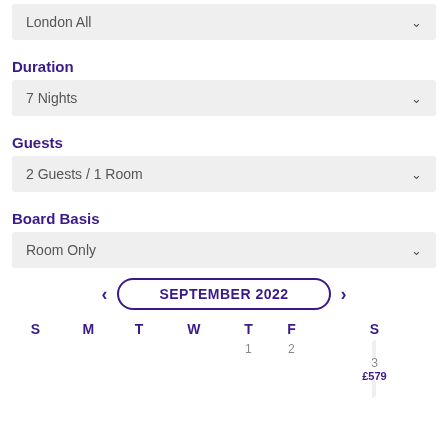London All
Duration
7 Nights
Guests
2 Guests / 1 Room
Board Basis
Room Only
SEPTEMBER 2022
| S | M | T | W | T | F | S |
| --- | --- | --- | --- | --- | --- | --- |
|  |  |  |  | 1 | 2 | 3 £579 |